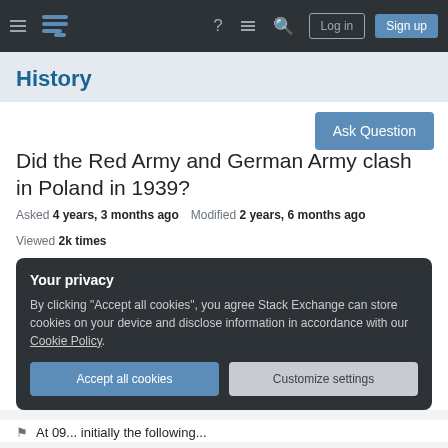History Stack Exchange navigation bar with hamburger menu, logo, icons (help, chat, search), Log in and Sign up buttons
History
Did the Red Army and German Army clash in Poland in 1939?
Asked 4 years, 3 months ago   Modified 2 years, 6 months ago   Viewed 2k times
Your privacy
By clicking "Accept all cookies", you agree Stack Exchange can store cookies on your device and disclose information in accordance with our Cookie Policy.
Accept all cookies   Customize settings
At 09... (truncated)